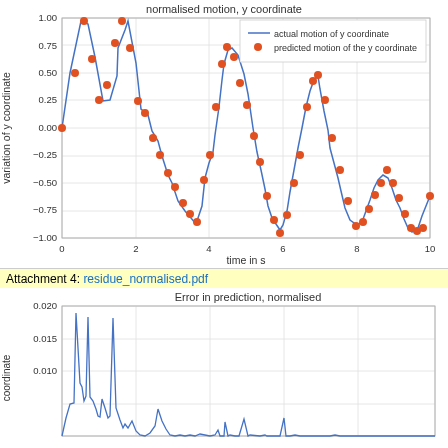[Figure (continuous-plot): Line chart showing actual motion of y coordinate (blue line) and predicted motion of the y coordinate (red dots) over time 0-10 seconds. Y axis ranges from -1.00 to 1.00. The signal shows a damped oscillatory pattern with decreasing amplitude over time.]
Attachment 4: residue_normalised.pdf
[Figure (continuous-plot): Line chart showing error in prediction (normalised). Y axis shows values from approximately 0 to 0.020. The error is higher in early time steps (0-4s) and lower later. Only the left portion of the chart is visible.]